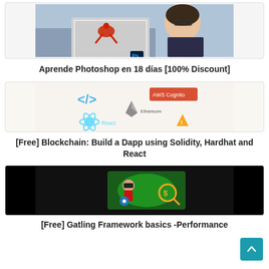[Figure (photo): Course thumbnail showing a woman smiling with a laptop displaying a Photoshop image with red abstract art, Ps logo visible]
Aprende Photoshop en 18 días [100% Discount]
[Figure (illustration): Course thumbnail showing blockchain-related tech icons: HTML code brackets, AWS Cognito logo, Ethereum logo, React logo, and a yellow warning/alert triangle icon on light background]
[Free] Blockchain: Build a Dapp using Solidity, Hardhat and React
[Figure (photo): Course thumbnail showing a person with VR headset on black background with a green portal-like scene and a magnifying glass with dollar sign icon]
[Free] Gatling Framework basics -Performance